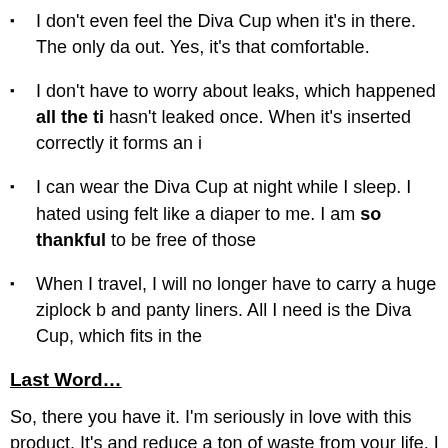I don't even feel the Diva Cup when it's in there. The only da... out. Yes, it's that comfortable.
I don't have to worry about leaks, which happened all the ti... hasn't leaked once. When it's inserted correctly it forms an i...
I can wear the Diva Cup at night while I sleep. I hated using... felt like a diaper to me. I am so thankful to be free of those...
When I travel, I will no longer have to carry a huge ziplock b... and panty liners. All I need is the Diva Cup, which fits in the...
Last Word…
So, there you have it. I'm seriously in love with this product. It's... and reduce a ton of waste from your life. I will never, ever go ba...
I give the Diva Cup 27 stars out of five.
Post Publication Note: You might also be interested in reading...